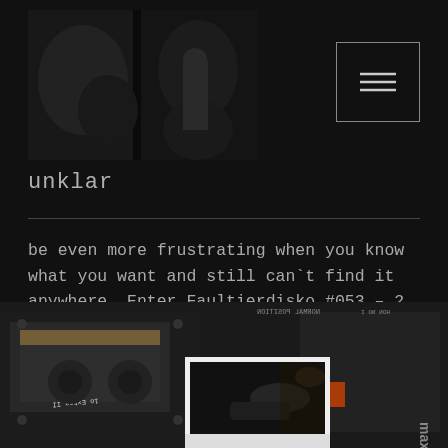[Figure (photo): Dark photograph showing textured rocky surface, used as website header/logo image]
unklar
be even more frustrating when you know what you want and still can`t find it anywhere. Enter Faultierdisko #053 – 2 Girls 1 Club, a … Continue reading
[Figure (photo): Close-up photograph of cassette tapes (Extra II, Maxell) with a Polaroid-style photo overlaid on top showing a dimly lit scene]